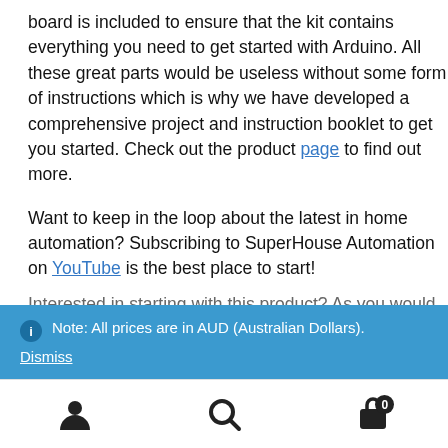board is included to ensure that the kit contains everything you need to get started with Arduino. All these great parts would be useless without some form of instructions which is why we have developed a comprehensive project and instruction booklet to get you started. Check out the product page to find out more.
Want to keep in the loop about the latest in home automation? Subscribing to SuperHouse Automation on YouTube is the best place to start!
Interested in starting with this product? As you would...
Note: All prices are in AUD (Australian Dollars). Dismiss